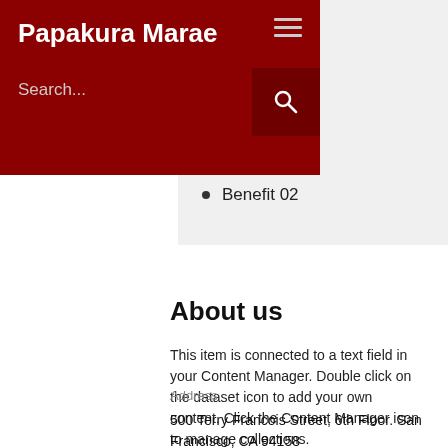Papakura Marae
Benefit 02
About us
This item is connected to a text field in your Content Manager. Double click on the dataset icon to add your own content. Click the Content Manager icon to manage collections.
Address
500 Terry Francois Street, 6th Floor. San Francisco, CA 94158